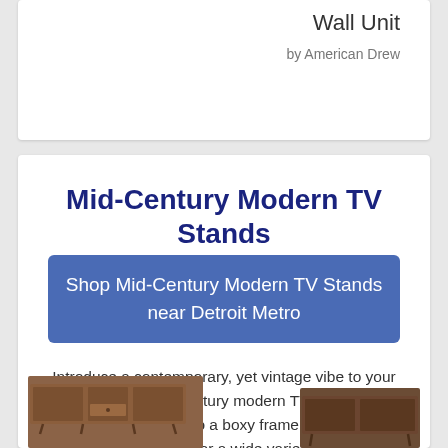Wall Unit
by American Drew
Mid-Century Modern TV Stands
Shop Mid-Century Modern TV Stands near Detroit Metro
Introduce a contemporary, yet vintage vibe to your home with a Mid-Century modern TV stand. With hairpin legs attached to a boxy frame, this petite, yet wide piece is perfect for a wide variety of TV sizes.
[Figure (photo): Two mid-century modern TV stands shown at the bottom of the page]